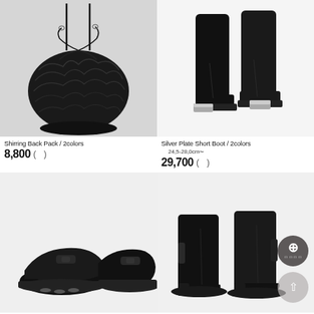[Figure (photo): Black drawstring shirring backpack on light gray background]
Shirring Back Pack / 2colors
8,800 ( )
[Figure (photo): Black leather ankle boots with silver metal toe cap on white background]
Silver Plate Short Boot / 2colors
24,5-28,0cm
29,700 ( )
[Figure (photo): Black leather chunky platform loafers on white background]
[Figure (photo): Black pointed toe chelsea ankle boots on white background]